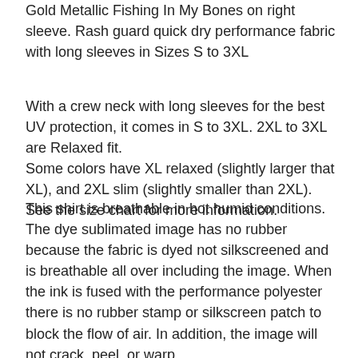Gold Metallic Fishing In My Bones on right sleeve. Rash guard quick dry performance fabric with long sleeves in Sizes S to 3XL
With a crew neck with long sleeves for the best UV protection, it comes in S to 3XL. 2XL to 3XL are Relaxed fit.
Some colors have XL relaxed (slightly larger that XL), and 2XL slim (slightly smaller than 2XL). See the size chart for more information.
This shirt is breathable in hot humid conditions. The dye sublimated image has no rubber because the fabric is dyed not silkscreened and is breathable all over including the image. When the ink is fused with the performance polyester there is no rubber stamp or silkscreen patch to block the flow of air. In addition, the image will not crack, peel, or warp.
These shirts also work well as a sweat-wicking under layer for outdoor work or play in cold climates.
UPF 50+ is the highest UV sun protection rating on sport fishing